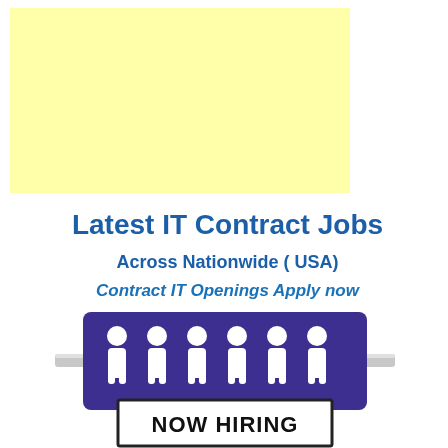[Figure (other): Light yellow advertisement banner placeholder]
Latest IT Contract Jobs
Across Nationwide ( USA)
Contract IT Openings Apply now
[Figure (illustration): Now Hiring sign with purple background showing white human figures and a white board saying NOW HIRING]